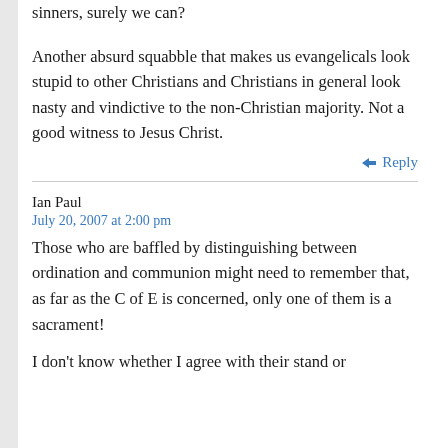sinners, surely we can?
Another absurd squabble that makes us evangelicals look stupid to other Christians and Christians in general look nasty and vindictive to the non-Christian majority. Not a good witness to Jesus Christ.
Reply
Ian Paul
July 20, 2007 at 2:00 pm
Those who are baffled by distinguishing between ordination and communion might need to remember that, as far as the C of E is concerned, only one of them is a sacrament!
I don't know whether I agree with their stand or